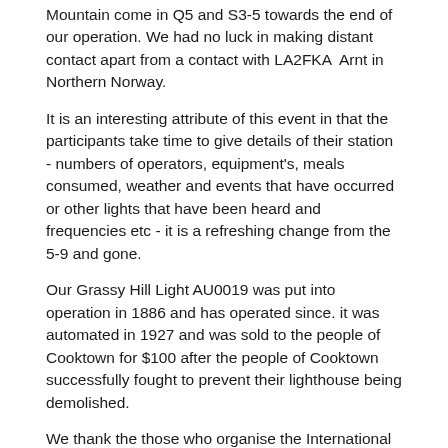Mountain come in Q5 and S3-5 towards the end of our operation. We had no luck in making distant contact apart from a contact with LA2FKA Arnt in Northern Norway.
It is an interesting attribute of this event in that the participants take time to give details of their station - numbers of operators, equipment's, meals consumed, weather and events that have occurred or other lights that have been heard and frequencies etc - it is a refreshing change from the 5-9 and gone.
Our Grassy Hill Light AU0019 was put into operation in 1886 and has operated since. it was automated in 1927 and was sold to the people of Cooktown for $100 after the people of Cooktown successfully fought to prevent their lighthouse being demolished.
We thank the those who organise the International Lighthouse Lightship Weekend event as its obvious that by having the WEB site and lists of participants plus PR is a major factor in its success. It must surely be one of the major international Amateur Radio events with over 465 lights/ships and many at each site.
Mike VK4MIK
for Tableland Radio Group VK4GHI